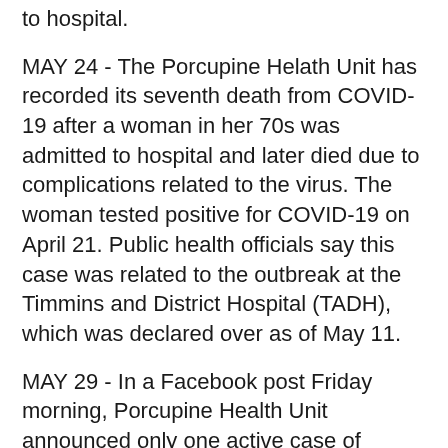to hospital.
MAY 24 - The Porcupine Helath Unit has recorded its seventh death from COVID-19 after a woman in her 70s was admitted to hospital and later died due to complications related to the virus. The woman tested positive for COVID-19 on April 21. Public health officials say this case was related to the outbreak at the Timmins and District Hospital (TADH), which was declared over as of May 11.
MAY 29 - In a Facebook post Friday morning, Porcupine Health Unit announced only one active case of COVID-19 remains in its service area. It also said that 18 days have passed since the last positive COVID-19 result came back.
JUNE 13 - A Timmins woman in her 90s has died after testing positive for COVID-19 on April 20. She is the eighth COVID-related death in the Porcupine Health Unit(PHU) service area and was exposed through an outbreak at